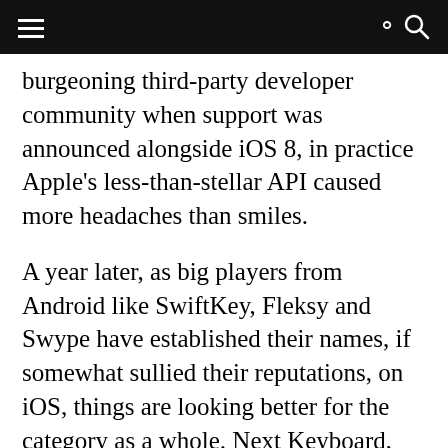≡  [navigation bar]  🔍
burgeoning third-party developer community when support was announced alongside iOS 8, in practice Apple's less-than-stellar API caused more headaches than smiles.
A year later, as big players from Android like SwiftKey, Fleksy and Swype have established their names, if somewhat sullied their reputations, on iOS, things are looking better for the category as a whole. Next Keyboard, which is now available for iPhone after a successful Kickstarter campaign saw it crowned the most-funded mobile app on the network, looks to reimagine the idea of a third-party